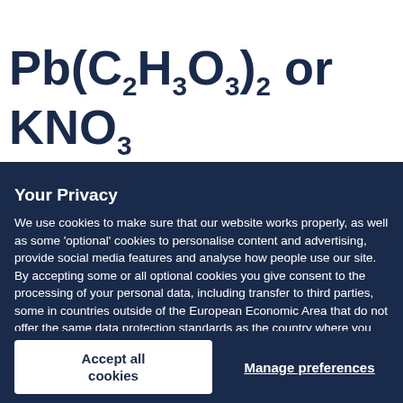Your Privacy
We use cookies to make sure that our website works properly, as well as some ‘optional’ cookies to personalise content and advertising, provide social media features and analyse how people use our site. By accepting some or all optional cookies you give consent to the processing of your personal data, including transfer to third parties, some in countries outside of the European Economic Area that do not offer the same data protection standards as the country where you live. You can decide which optional cookies to accept by clicking on ‘Manage Settings’, where you can also find more information about how your personal data is processed. Further information can be found in our privacy policy.
Accept all cookies
Manage preferences